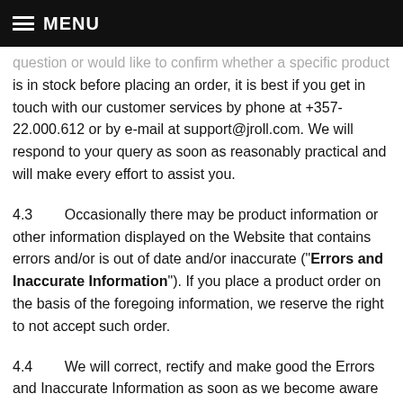MENU
question or would like to confirm whether a specific product is in stock before placing an order, it is best if you get in touch with our customer services by phone at +357-22.000.612 or by e-mail at support@jroll.com. We will respond to your query as soon as reasonably practical and will make every effort to assist you.
4.3       Occasionally there may be product information or other information displayed on the Website that contains errors and/or is out of date and/or inaccurate ("Errors and Inaccurate Information"). If you place a product order on the basis of the foregoing information, we reserve the right to not accept such order.
4.4       We will correct, rectify and make good the Errors and Inaccurate Information as soon as we become aware of the